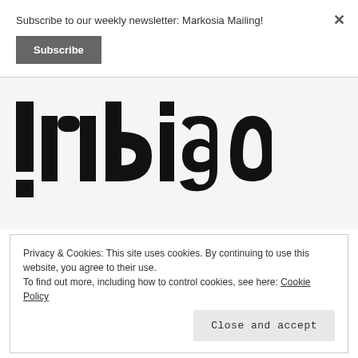Subscribe to our weekly newsletter: Markosia Mailing!
Subscribe
×
[Figure (logo): !ndigo logo in large bold black serif font on light grey background]
Privacy & Cookies: This site uses cookies. By continuing to use this website, you agree to their use. To find out more, including how to control cookies, see here: Cookie Policy
Close and accept